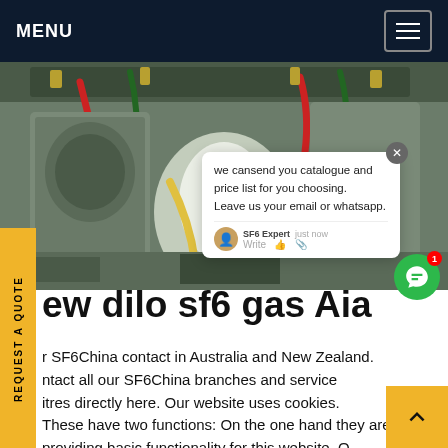MENU
[Figure (photo): Industrial SF6 gas equipment interior showing green and red hoses, valves, and yellow cables inside a metal enclosure]
REQUEST A QUOTE
we cansend you catalogue and price list for you choosing. Leave us your email or whatsapp.
new dilo sf6 gas Australia
r SF6China contact in Australia and New Zealand. ntact all our SF6China branches and service itres directly here. Our website uses cookies. These have two functions: On the one hand they are providing basic functionality for this website. On other hand theyGet price